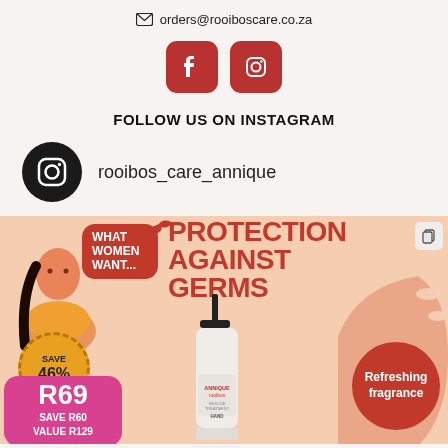orders@rooiboscare.co.za
[Figure (logo): Facebook and Instagram social media icon buttons (red rounded squares)]
FOLLOW US ON INSTAGRAM
rooibos_care_annique
[Figure (infographic): Promotional banner: What Women Want - Protection Against Germs. Features woman illustration, ANNIQUE rooibos hand treatment bottle, Save 46%, R69 price, Save R60, Value R129, Refreshing fragrance callout.]